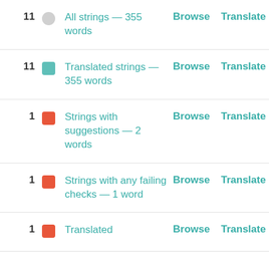| Count | Icon | Label | Browse | Translate | Zen |
| --- | --- | --- | --- | --- | --- |
| 11 | grey circle | All strings — 355 words | Browse | Translate | Zen |
| 11 | teal square | Translated strings — 355 words | Browse | Translate | Zen |
| 1 | orange square | Strings with suggestions — 2 words | Browse | Translate | Zen |
| 1 | orange square | Strings with any failing checks — 1 word | Browse | Translate | Zen |
| 1 | orange square | Translated | Browse | Translate | Zen |